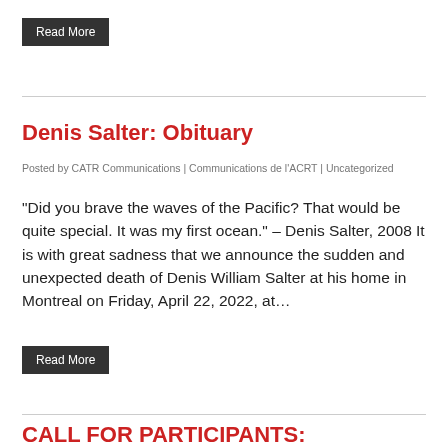Read More
Denis Salter: Obituary
Posted by CATR Communications | Communications de l'ACRT | Uncategorized
“Did you brave the waves of the Pacific? That would be quite special. It was my first ocean.” – Denis Salter, 2008 It is with great sadness that we announce the sudden and unexpected death of Denis William Salter at his home in Montreal on Friday, April 22, 2022, at…
Read More
CALL FOR PARTICIPANTS: